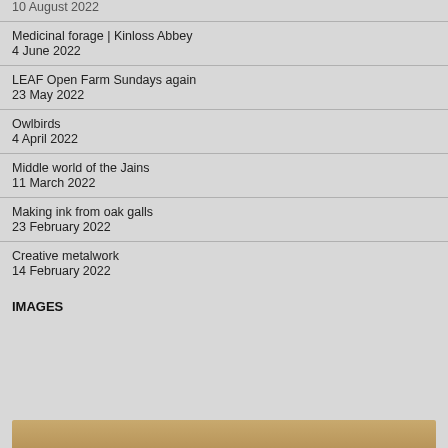10 August 2022
Medicinal forage | Kinloss Abbey
4 June 2022
LEAF Open Farm Sundays again
23 May 2022
Owlbirds
4 April 2022
Middle world of the Jains
11 March 2022
Making ink from oak galls
23 February 2022
Creative metalwork
14 February 2022
IMAGES
[Figure (photo): Partial view of an image at the bottom of the page, showing a warm tan/brown surface.]